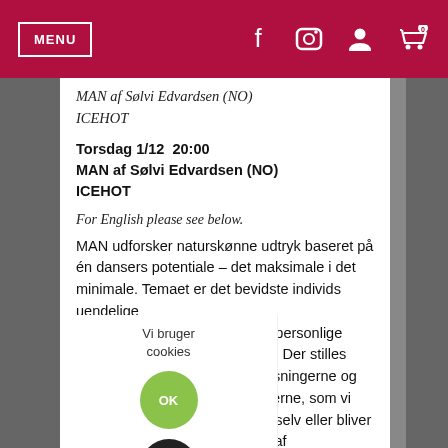MENU
MAN af Sølvi Edvardsen (NO)
ICEHOT
Torsdag 1/12  20:00
MAN af Sølvi Edvardsen (NO)
ICEHOT
For English please see below.
MAN udforsker naturskønne udtryk baseret på én dansers potentiale – det maksimale i det minimale. Temaet er det bevidste individs uendelige af den personlige realitet. Der stilles egrænsningerne og grænserne, som vi ger os selv eller bliver pålagt af ksterne systemer og situationer – forstærkes, når man er flerkulturel.
igtig i en tid, hvor verden bliver mindre, s dage er præget af mange udfordringer
Vi bruger cookies
OK
Reje
Læs